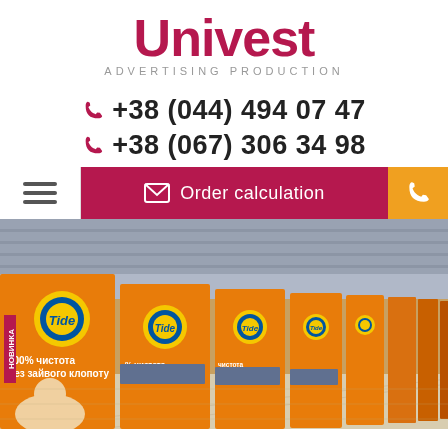[Figure (logo): Univest Advertising Production logo — large red/crimson 'Univest' wordmark with 'ADVERTISING PRODUCTION' subtitle in grey spaced capitals]
+38 (044) 494 07 47
+38 (067) 306 34 98
[Figure (screenshot): Navigation bar with hamburger menu icon on left (white background), 'Order calculation' button with envelope icon on crimson/magenta background in centre, and phone icon on orange background on right]
[Figure (photo): Interior photo of a supermarket showing a long row of checkout counters all wrapped in Tide orange branded covers showing a boy and the slogan '100% чистота без зайвого клопоту' (100% cleanliness without extra hassle), with the Tide logo repeated on each checkout wrap]